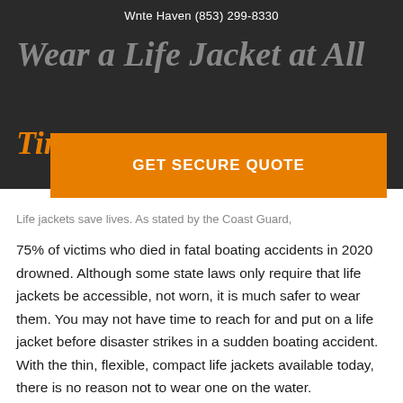Wnte Haven (853) 299-8330
Wear a Life Jacket at All Times
[Figure (other): Orange GET SECURE QUOTE button]
Life jackets save lives. As stated by the Coast Guard,
75% of victims who died in fatal boating accidents in 2020 drowned. Although some state laws only require that life jackets be accessible, not worn, it is much safer to wear them. You may not have time to reach for and put on a life jacket before disaster strikes in a sudden boating accident. With the thin, flexible, compact life jackets available today, there is no reason not to wear one on the water.